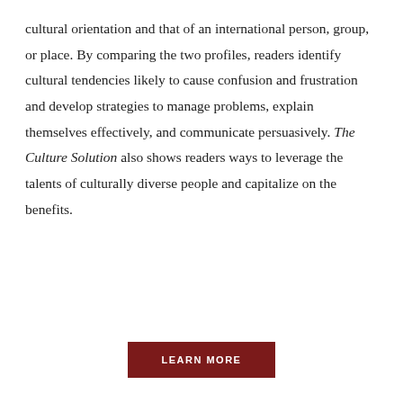cultural orientation and that of an international person, group, or place. By comparing the two profiles, readers identify cultural tendencies likely to cause confusion and frustration and develop strategies to manage problems, explain themselves effectively, and communicate persuasively. The Culture Solution also shows readers ways to leverage the talents of culturally diverse people and capitalize on the benefits.
LEARN MORE